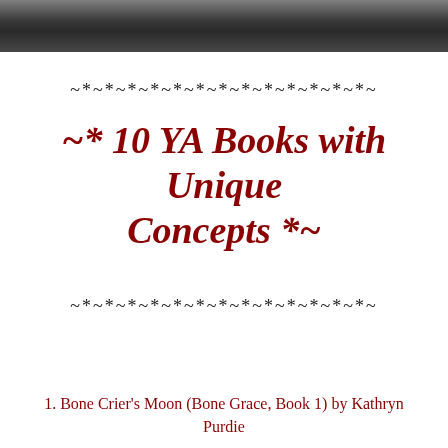[Figure (photo): Black and white photo strip at the top of the page, partially visible]
~*~*~*~*~*~*~*~*~*~*~*~*~*~
~* 10 YA Books with Unique Concepts *~
~*~*~*~*~*~*~*~*~*~*~*~*~*~
1. Bone Crier's Moon (Bone Grace, Book 1) by Kathryn Purdie